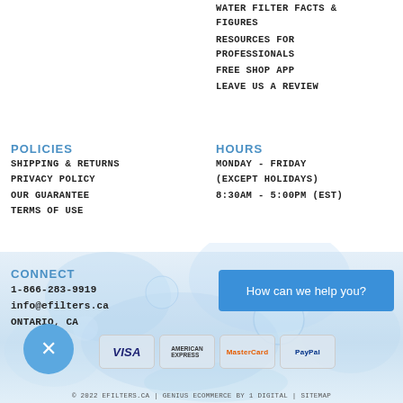WATER FILTER FACTS & FIGURES
RESOURCES FOR PROFESSIONALS
FREE SHOP APP
LEAVE US A REVIEW
POLICIES
SHIPPING & RETURNS
PRIVACY POLICY
OUR GUARANTEE
TERMS OF USE
HOURS
MONDAY - FRIDAY
(EXCEPT HOLIDAYS)
8:30AM - 5:00PM (EST)
CONNECT
1-866-283-9919
info@efilters.ca
ONTARIO, CA
How can we help you?
[Figure (screenshot): Payment method icons: VISA, American Express, MasterCard, PayPal]
© 2022 EFILTERS.CA | GENIUS ECOMMERCE BY 1 DIGITAL | SITEMAP